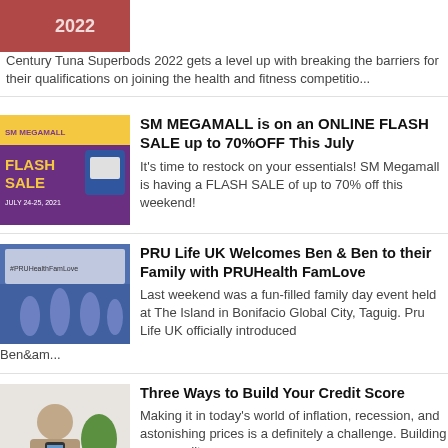[Figure (photo): Partial thumbnail of Century Tuna Superbods 2022 promotional image]
Century Tuna Superbods 2022 gets a level up with breaking the barriers for their qualifications on joining the health and fitness competitio...
[Figure (photo): SM Megamall Flash Sale promotional banner, pink/purple background with FLASH SALE text, July 24-25 2021]
SM MEGAMALL is on an ONLINE FLASH SALE up to 70%OFF This July
It's time to restock on your essentials! SM Megamall is having a FLASH SALE of up to 70% off this weekend!
[Figure (photo): PRU Life UK event photo showing people at The Island in Bonifacio Global City, Taguig]
PRU Life UK Welcomes Ben & Ben to their Family with PRUHealth FamLove
Last weekend was a fun-filled family day event held at The Island in Bonifacio Global City, Taguig. Pru Life UK officially introduced Ben&am...
[Figure (photo): Photo of a person looking at a phone or document, related to credit score article]
Three Ways to Build Your Credit Score
Making it in today's world of inflation, recession, and astonishing prices is a definitely a challenge. Building your credit...